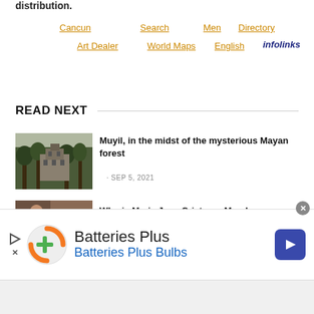distribution.
Cancun
Search
Men
Directory
Art Dealer
World Maps
English
infolinks
READ NEXT
Muyil, in the midst of the mysterious Mayan forest
SEP 5, 2021
[Figure (photo): Photo of Mayan ruins with trees]
Who is Maria Jose Cristerna Mendez,
[Figure (photo): Infolinks thumbnail photo]
[Figure (other): Batteries Plus advertisement banner with logo, text 'Batteries Plus' and 'Batteries Plus Bulbs', navigation arrow button]